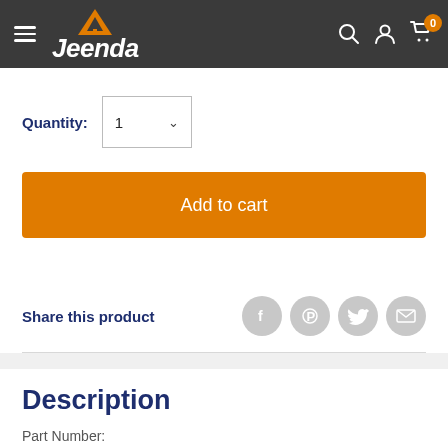Jeenda
Quantity: 1
Add to cart
Share this product
Description
Part Number: